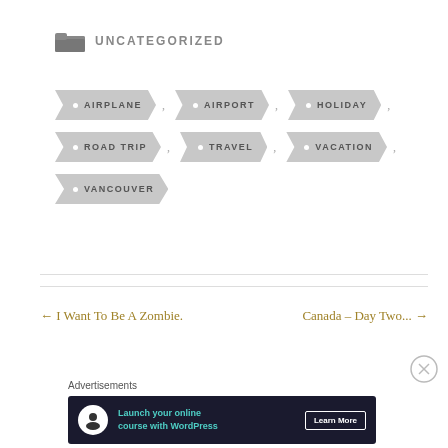UNCATEGORIZED
AIRPLANE
AIRPORT
HOLIDAY
ROAD TRIP
TRAVEL
VACATION
VANCOUVER
← I Want To Be A Zombie.
Canada – Day Two... →
Advertisements
[Figure (other): Advertisement banner: Launch your online course with WordPress – Learn More button]